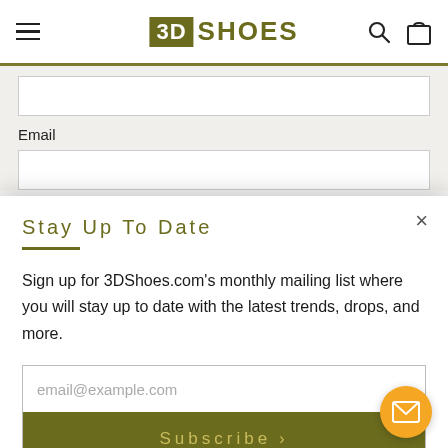[Figure (logo): 3D Shoes logo with olive/khaki colored square containing '3D' text and 'SHOES' text beside it]
[Figure (screenshot): Form fields showing a white input field and an Email label with another white input field below]
Stay Up To Date
Sign up for 3DShoes.com's monthly mailing list where you will stay up to date with the latest trends, drops, and more.
email@example.com
Subscribe >